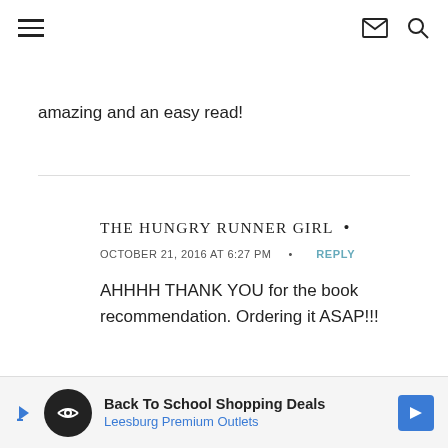Navigation header with hamburger menu, email icon, and search icon
amazing and an easy read!
THE HUNGRY RUNNER GIRL • OCTOBER 21, 2016 AT 6:27 PM • REPLY
AHHHH THANK YOU for the book recommendation. Ordering it ASAP!!!
[Figure (infographic): Advertisement banner: Back To School Shopping Deals - Leesburg Premium Outlets]